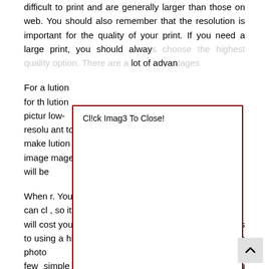difficult to print and are generally larger than those on web. You should also remember that the resolution is important for the quality of your print. If you need a large print, you should always choose the highest quality option. There are a lot of advantages...
[Figure (screenshot): A modal/popup overlay with dark red border and title 'Cl!ck Imag3 To Close!' partially covering the body text beneath it.]
For a ... lution for th... lution pictur... low-resolu... ant to make... lution image... mage will be...
When... r. You can cl... , so it will cost you some money. There are many advantages to using a high-quality printer. You can create a custom photo few simple steps. If you have a good image, you should be able to print it without any problems. Once you have finished the